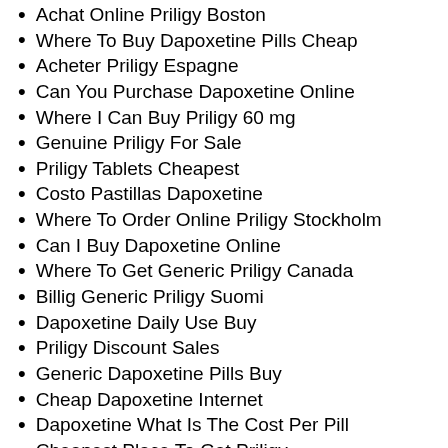Achat Online Priligy Boston
Where To Buy Dapoxetine Pills Cheap
Acheter Priligy Espagne
Can You Purchase Dapoxetine Online
Where I Can Buy Priligy 60 mg
Genuine Priligy For Sale
Priligy Tablets Cheapest
Costo Pastillas Dapoxetine
Where To Order Online Priligy Stockholm
Can I Buy Dapoxetine Online
Where To Get Generic Priligy Canada
Billig Generic Priligy Suomi
Dapoxetine Daily Use Buy
Priligy Discount Sales
Generic Dapoxetine Pills Buy
Cheap Dapoxetine Internet
Dapoxetine What Is The Cost Per Pill
Cheapest Place To Get Priligy